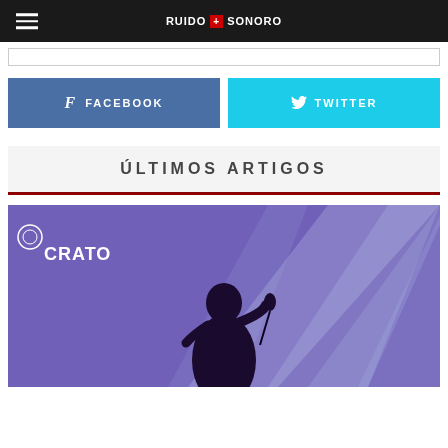RUIDO SONORO
FACEBOOK
TWITTER
ÚLTIMOS ARTIGOS
[Figure (photo): Concert photo with silhouette of a singer at a microphone, purple stage lighting with light beams, Festival Crato 2023 logo visible in upper left]